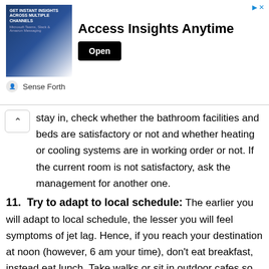[Figure (screenshot): Advertisement banner for 'Sense Forth' promoting 'Access Insights Anytime' with an Open button and ad controls.]
stay in, check whether the bathroom facilities and beds are satisfactory or not and whether heating or cooling systems are in working order or not. If the current room is not satisfactory, ask the management for another one.
11. Try to adapt to local schedule: The earlier you will adapt to local schedule, the lesser you will feel symptoms of jet lag. Hence, if you reach your destination at noon (however, 6 am your time), don't eat breakfast, instead eat lunch. Take walks or sit in outdoor cafes so that your body can be exposed to sunlight, which will signal the hypothalamus to decrease production of melatonin (that induces